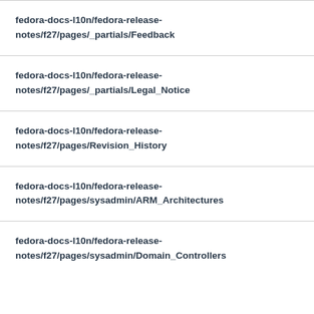fedora-docs-l10n/fedora-release-notes/f27/pages/_partials/Feedback
fedora-docs-l10n/fedora-release-notes/f27/pages/_partials/Legal_Notice
fedora-docs-l10n/fedora-release-notes/f27/pages/Revision_History
fedora-docs-l10n/fedora-release-notes/f27/pages/sysadmin/ARM_Architectures
fedora-docs-l10n/fedora-release-notes/f27/pages/sysadmin/Domain_Controllers